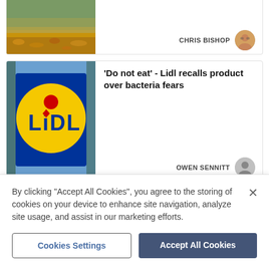[Figure (photo): Partial news card showing a landscape/nature photo (autumn leaves on ground), with CHRIS BISHOP byline and avatar on the right.]
[Figure (photo): News card with Lidl store sign photo on left, headline and OWEN SENNITT byline on right.]
'Do not eat' - Lidl recalls product over bacteria fears
[Figure (photo): Partial news card showing a police officer from behind, with UPDATED label and headline starting 'Sixty-year-old woman missing from']
UPDATED
Sixty-year-old woman missing from
By clicking “Accept All Cookies”, you agree to the storing of cookies on your device to enhance site navigation, analyze site usage, and assist in our marketing efforts.
Cookies Settings
Accept All Cookies